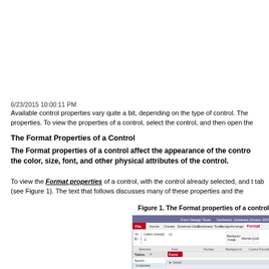6/23/2015 10:00:11 PM
Available control properties vary quite a bit, depending on the type of control. The properties. To view the properties of a control, select the control, and then open the
The Format Properties of a Control
The Format properties of a control affect the appearance of the control the color, size, font, and other physical attributes of the control.
To view the Format properties of a control, with the control already selected, and t tab (see Figure 1). The text that follows discusses many of these properties and the
Figure 1. The Format properties of a control
[Figure (screenshot): Microsoft Access Form Design Tools ribbon screenshot showing the Format tab with various formatting options including font, background, and control formatting options.]